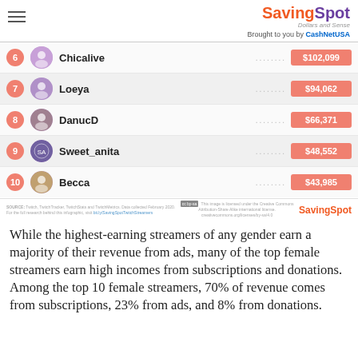SavingSpot Dollars and Sense — Brought to you by CashNetUSA
[Figure (infographic): Ranking list of top female Twitch streamers by earnings. Entries 6-10 shown: 6 Chicalive $102,099; 7 Loeya $94,062; 8 DanucD $66,371; 9 Sweet_anita $48,552; 10 Becca $43,985]
SOURCE: Twitch, TwitchTracker, TwitchStats and TwitchMetrics. Data collected February 2020. This image is licensed under the Creative Commons Attribution-Share Alike international license. SavingSpot
While the highest-earning streamers of any gender earn a majority of their revenue from ads, many of the top female streamers earn high incomes from subscriptions and donations. Among the top 10 female streamers, 70% of revenue comes from subscriptions, 23% from ads, and 8% from donations.